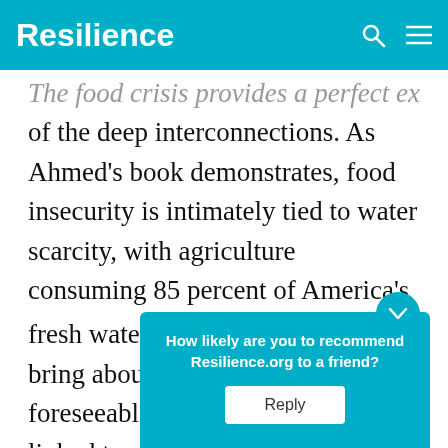Resilience
The food crisis provides a perfect example of the deep interconnections. As Ahmed's book demonstrates, food insecurity is intimately tied to water scarcity, with agriculture consuming 85 percent of America's fresh water¹ and threatening to bring about shortages in the foreseeable future. It's also closely linked to oil depletion, since every aspect of modern farming … to machi…
How likely are you to recommend Resilience.org to a friend?
Reply